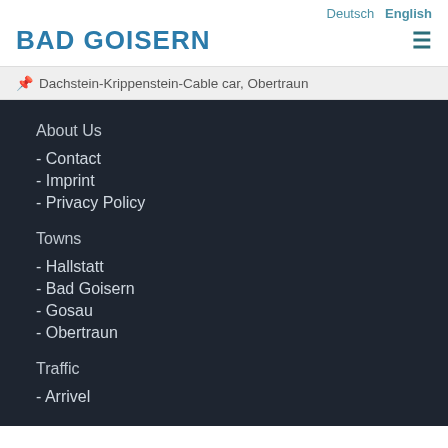Deutsch  English
BAD GOISERN
Dachstein-Krippenstein-Cable car, Obertraun
About Us
- Contact
- Imprint
- Privacy Policy
Towns
- Hallstatt
- Bad Goisern
- Gosau
- Obertraun
Traffic
- Arrivel